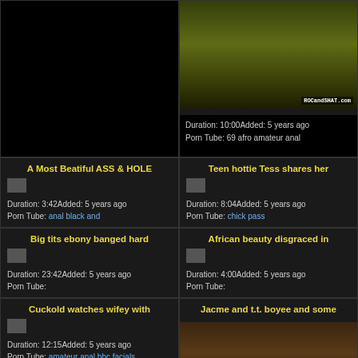[Figure (screenshot): Top-left dark/black cell, large empty area]
[Figure (photo): Top-right video thumbnail showing person on bed, watermark ROCandSHAT.com]
Duration: 10:00Added: 5 years ago
Porn Tube: 69 afro amateur anal
A Most Beatiful ASS & HOLE
Duration: 3:42Added: 5 years ago
Porn Tube: anal black and
Teen hottie Tess shares her
Duration: 8:04Added: 5 years ago
Porn Tube: chick pass
Big tits ebony banged hard
Duration: 23:42Added: 5 years ago
Porn Tube:
African beauty disgraced in
Duration: 4:00Added: 5 years ago
Porn Tube:
Cuckold watches wifey with
Duration: 12:15Added: 5 years ago
Porn Tube: amateur anal bbc facials
Jacme and t.t. boyee and some
[Figure (photo): Bottom-right video thumbnail showing close-up blurry image]